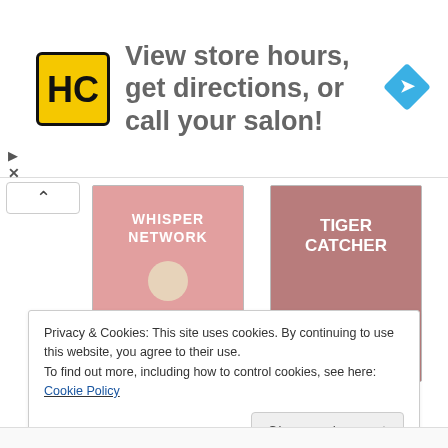[Figure (infographic): Advertisement banner: HC logo (yellow square with HC letters), text 'View store hours, get directions, or call your salon!', blue diamond navigation arrow icon]
[Figure (photo): Book cover: Whisper Network by Chandler Baker, pink cover]
Whisper Network: A...
$9.99
[Figure (infographic): Amazon Shop now button]
[Figure (photo): Book cover: The Tiger Catcher: The... by Paullina Simons, pink/red cover]
The Tiger Catcher: The...
$11.49
[Figure (infographic): Amazon Shop now button]
Privacy & Cookies: This site uses cookies. By continuing to use this website, you agree to their use.
To find out more, including how to control cookies, see here: Cookie Policy
Close and accept